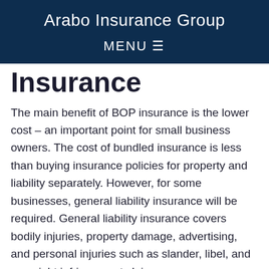Arabo Insurance Group
MENU ☰
Insurance
The main benefit of BOP insurance is the lower cost – an important point for small business owners. The cost of bundled insurance is less than buying insurance policies for property and liability separately. However, for some businesses, general liability insurance will be required. General liability insurance covers bodily injuries, property damage, advertising, and personal injuries such as slander, libel, and copyright infringement claims.